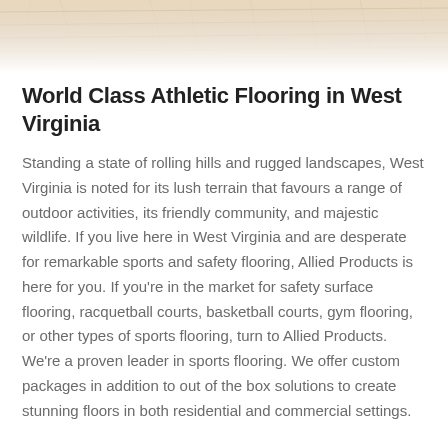[Figure (photo): Close-up photo of light-colored wood athletic flooring with visible grain and plank lines, viewed from a low angle.]
World Class Athletic Flooring in West Virginia
Standing a state of rolling hills and rugged landscapes, West Virginia is noted for its lush terrain that favours a range of outdoor activities, its friendly community, and majestic wildlife. If you live here in West Virginia and are desperate for remarkable sports and safety flooring, Allied Products is here for you. If you're in the market for safety surface flooring, racquetball courts, basketball courts, gym flooring, or other types of sports flooring, turn to Allied Products. We're a proven leader in sports flooring. We offer custom packages in addition to out of the box solutions to create stunning floors in both residential and commercial settings.